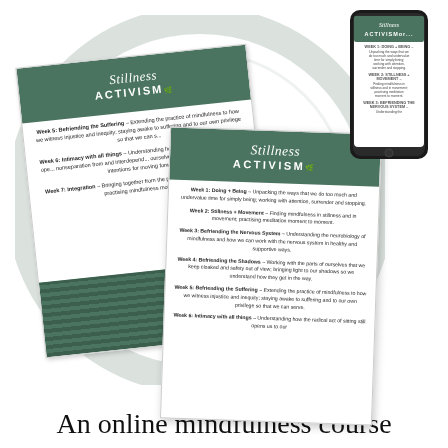[Figure (illustration): Marketing mockup showing 'Stillness Activism' online mindfulness course materials: two printed cards/booklets and a smartphone displaying course content, arranged on a circular grey decorative background. The cards show the course title 'Stillness ACTIVISM' in green with weekly module descriptions.]
An online mindfulness course